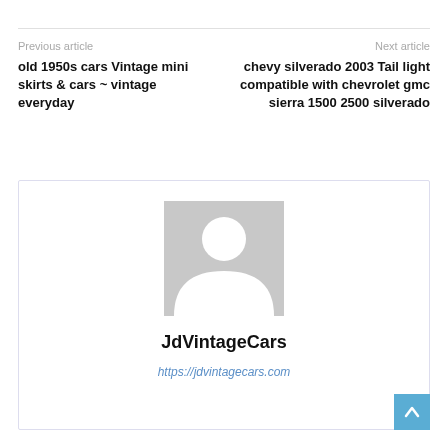Previous article
Next article
old 1950s cars Vintage mini skirts & cars ~ vintage everyday
chevy silverado 2003 Tail light compatible with chevrolet gmc sierra 1500 2500 silverado
[Figure (illustration): Generic user avatar placeholder — grey rectangle with white silhouette of a person (head and shoulders)]
JdVintageCars
https://jdvintagecars.com